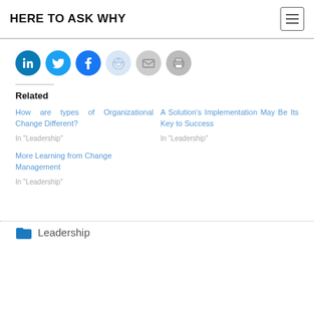HERE TO ASK WHY
[Figure (other): Social sharing icons: LinkedIn, Twitter, Facebook, Reddit, Email, Print]
Related
How are types of Organizational Change Different?
In "Leadership"
A Solution's Implementation May Be Its Key to Success
In "Leadership"
More Learning from Change Management
In "Leadership"
Leadership